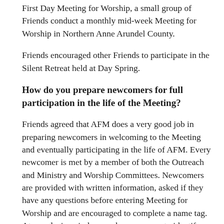First Day Meeting for Worship, a small group of Friends conduct a monthly mid-week Meeting for Worship in Northern Anne Arundel County.
Friends encouraged other Friends to participate in the Silent Retreat held at Day Spring.
How do you prepare newcomers for full participation in the life of the Meeting?
Friends agreed that AFM does a very good job in preparing newcomers in welcoming to the Meeting and eventually participating in the life of AFM. Every newcomer is met by a member of both the Outreach and Ministry and Worship Committees. Newcomers are provided with written information, asked if they have any questions before entering Meeting for Worship and are encouraged to complete a name tag. At our closing circle we ask newcomers to identify themselves so that they can be welcomed by the Meeting. Also, a member of the Outreach Committee asks newcomers to sit for a cup of